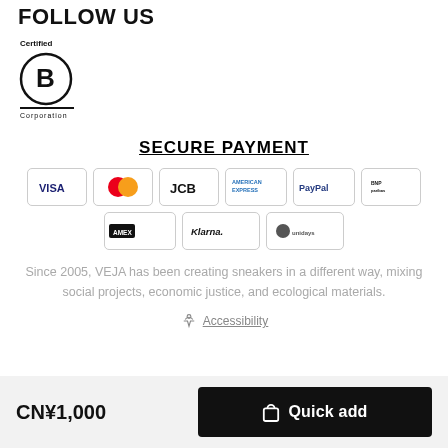FOLLOW US
[Figure (logo): Certified B Corporation logo with circle containing letter B]
SECURE PAYMENT
[Figure (infographic): Payment method icons: VISA, Mastercard, JCB, American Express, PayPal, BNPL, AmericanExpress/Diners, Klarna, and another payment service]
Since 2005, VEJA has been creating sneakers in a different way, mixing social projects, economic justice, and ecological materials.
Accessibility
CN¥1,000
Quick add